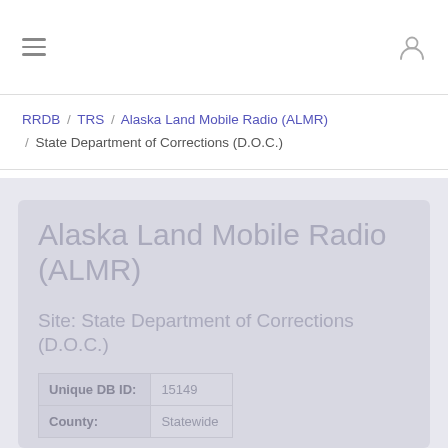≡  (hamburger menu)  |  (user icon)
RRDB / TRS / Alaska Land Mobile Radio (ALMR) / State Department of Corrections (D.O.C.)
Alaska Land Mobile Radio (ALMR)
Site: State Department of Corrections (D.O.C.)
| Field | Value |
| --- | --- |
| Unique DB ID: | 15149 |
| County: | Statewide |
Talkgroup Category Location Data